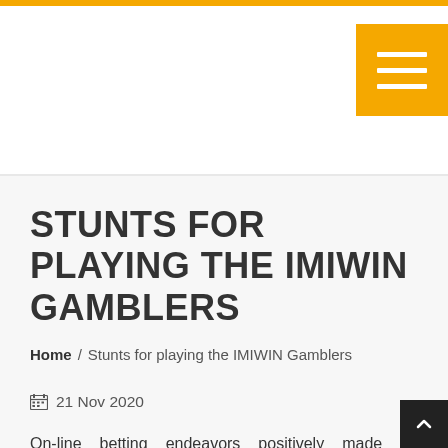STUNTS FOR PLAYING THE IMIWIN GAMBLERS
Home / Stunts for playing the IMIWIN Gamblers
21 Nov 2020
On-line betting endeavors positively made an astounding spot for individuals that wished to contribute their recreation much all the mo...